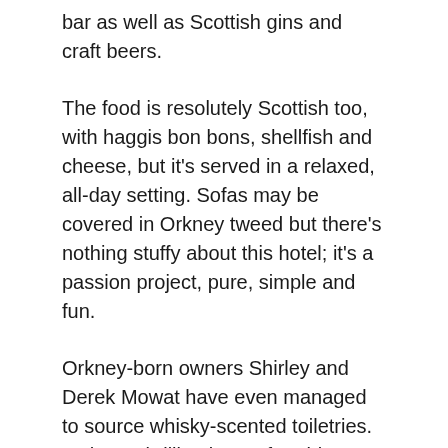bar as well as Scottish gins and craft beers.
The food is resolutely Scottish too, with haggis bon bons, shellfish and cheese, but it's served in a relaxed, all-day setting. Sofas may be covered in Orkney tweed but there's nothing stuffy about this hotel; it's a passion project, pure, simple and fun.
Orkney-born owners Shirley and Derek Mowat have even managed to source whisky-scented toiletries. In the 15 brilliantly comfortable rooms, from doubles to vast suites, tartan has its place but so does sheer indulgence, with walk-in showers and copper baths. All beds have Vispring mattresses on the basis that if they're good enough for the Queen, they're good enough for the Dunstane's guests.
In 2018, the Mowats bought the equally grand house opposite, so now there are 35 rooms. Two weeks befor…